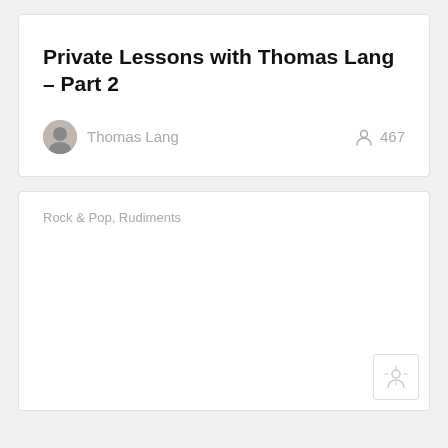Private Lessons with Thomas Lang – Part 2
Thomas Lang  467
Rock & Pop, Rudiments